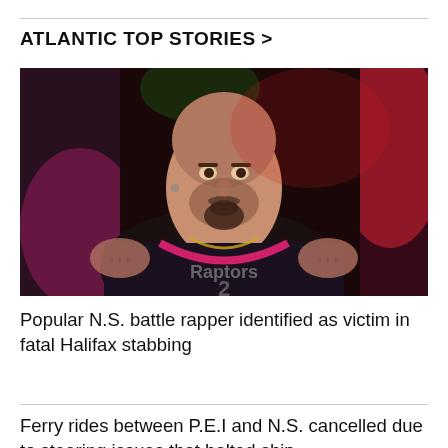ATLANTIC TOP STORIES >
[Figure (photo): Photo of a bald man with a goatee/beard wearing a black and pink Toronto Raptors basketball jersey and gold chain necklace, with tattoos on his arms, photographed in front of red and green stage lighting.]
Popular N.S. battle rapper identified as victim in fatal Halifax stabbing
Ferry rides between P.E.I and N.S. cancelled due to steering issues that halted ship